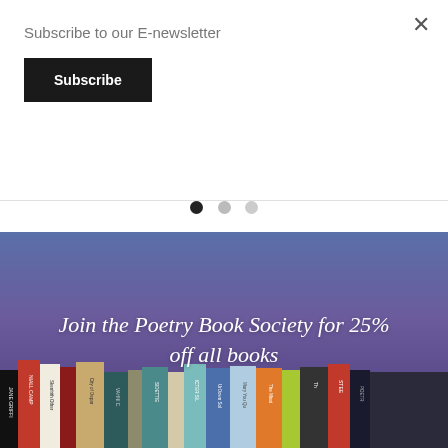Subscribe to our E-newsletter
Subscribe
×
RACHEL BOWER
£8.99
[Figure (photo): Row of poetry books on a shelf with a blue-purple gradient background, showing spines of various books. Overlaid text reads: Join the Poetry Book Society for 25% off all books]